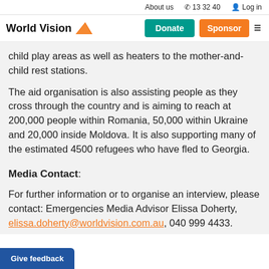About us   13 32 40   Log in
[Figure (logo): World Vision logo with orange triangle and star, Donate (teal) and Sponsor (orange) buttons, hamburger menu icon]
child play areas as well as heaters to the mother-and-child rest stations.
The aid organisation is also assisting people as they cross through the country and is aiming to reach at 200,000 people within Romania, 50,000 within Ukraine and 20,000 inside Moldova. It is also supporting many of the estimated 4500 refugees who have fled to Georgia.
Media Contact:
For further information or to organise an interview, please contact: Emergencies Media Advisor Elissa Doherty, elissa.doherty@worldvision.com.au, 040 999 4433.